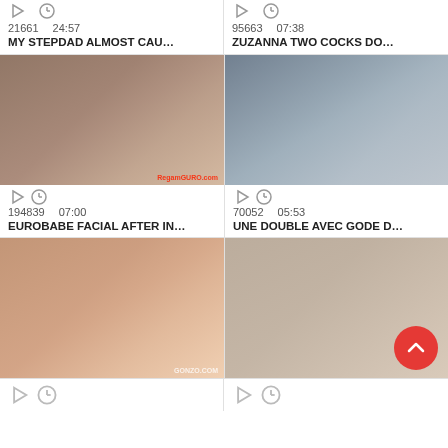21661   24:57
MY STEPDAD ALMOST CAU…
95663   07:38
ZUZANNA TWO COCKS DO…
[Figure (photo): Video thumbnail showing adult content]
194839   07:00
EUROBABE FACIAL AFTER IN…
[Figure (photo): Video thumbnail showing adult content]
70052   05:53
UNE DOUBLE AVEC GODE D…
[Figure (photo): Video thumbnail showing adult content]
[Figure (photo): Video thumbnail showing adult content]